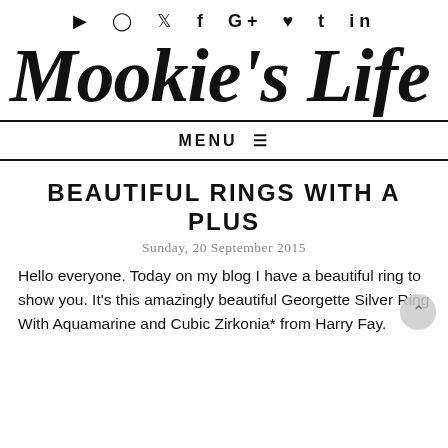▶ 🔘 🐦 f G+ ♥ t in
Mookie's Life
MENU ☰
BEAUTIFUL RINGS WITH A PLUS
Sunday, 20 September 2015
Hello everyone. Today on my blog I have a beautiful ring to show you. It's this amazingly beautiful Georgette Silver Ring With Aquamarine and Cubic Zirkonia* from Harry Fay.